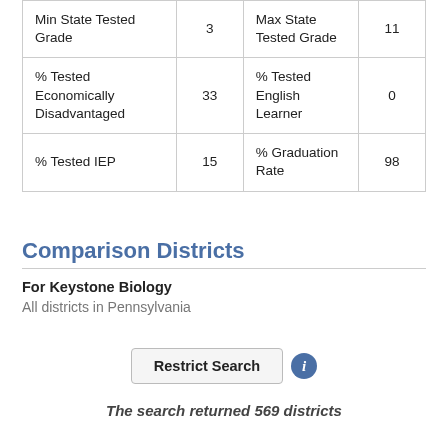| Min State Tested Grade | 3 | Max State Tested Grade | 11 |
| % Tested Economically Disadvantaged | 33 | % Tested English Learner | 0 |
| % Tested IEP | 15 | % Graduation Rate | 98 |
Comparison Districts
For Keystone Biology
All districts in Pennsylvania
Restrict Search
The search returned 569 districts